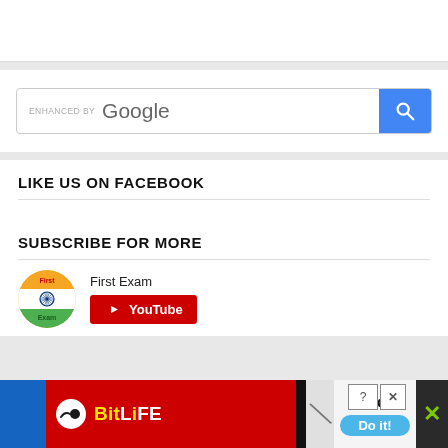[Figure (screenshot): Top white card area (partial page top)]
[Figure (screenshot): Google search bar with 'ENHANCED BY Google' label and blue search button]
LIKE US ON FACEBOOK
SUBSCRIBE FOR MORE
[Figure (logo): First Exam YouTube channel logo — circular badge with Indian flag colors and text 'First Exam']
First Exam
[Figure (screenshot): YouTube subscribe button (red) with play icon and 'YouTube' text]
[Figure (screenshot): Ad banner: BitLife app ad on left (red background, yellow/white logo), 'Murder Do it!' promo on right with close buttons and green X]